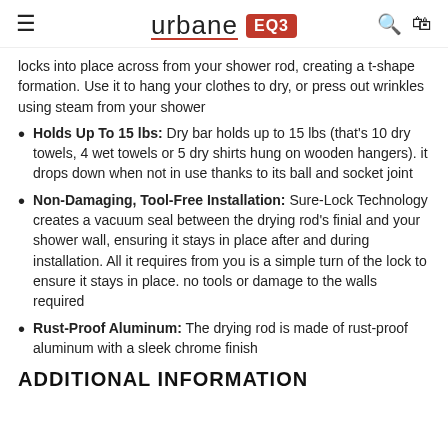urbane EQ3
locks into place across from your shower rod, creating a t-shape formation. Use it to hang your clothes to dry, or press out wrinkles using steam from your shower
Holds Up To 15 lbs: Dry bar holds up to 15 lbs (that's 10 dry towels, 4 wet towels or 5 dry shirts hung on wooden hangers). it drops down when not in use thanks to its ball and socket joint
Non-Damaging, Tool-Free Installation: Sure-Lock Technology creates a vacuum seal between the drying rod's finial and your shower wall, ensuring it stays in place after and during installation. All it requires from you is a simple turn of the lock to ensure it stays in place. no tools or damage to the walls required
Rust-Proof Aluminum: The drying rod is made of rust-proof aluminum with a sleek chrome finish
ADDITIONAL INFORMATION